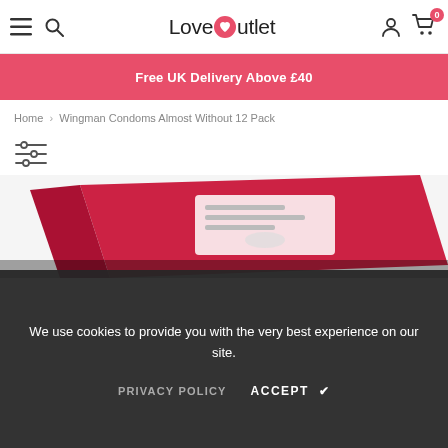LoveOutlet - navigation header with menu, search, account, and cart icons
Free UK Delivery Above £40
Home > Wingman Condoms Almost Without 12 Pack
[Figure (photo): Red Wingman Condoms Almost Without 12 Pack box shown at an angle on a dark background]
We use cookies to provide you with the very best experience on our site.
PRIVACY POLICY   ACCEPT ✔